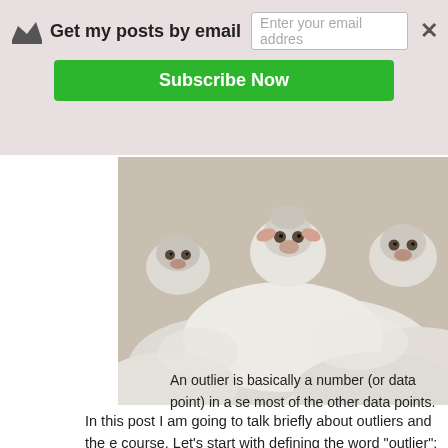Get my posts by email
Enter your email addres
Subscribe Now
[Figure (photo): A crowd of white sheep/lambs packed closely together, looking at the camera.]
In this post I am going to talk briefly about outliers and the e course. Let's start with defining the word "outlier": what is a
An outlier is basically a number (or data point) in a se most of the other data points.